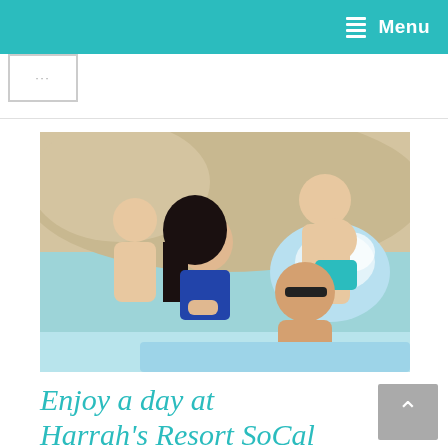Menu
[Figure (logo): Small logo placeholder with dots]
[Figure (photo): People enjoying a resort pool, couple in foreground, man splashing in background waterfall area]
Enjoy a day at Harrah's Resort SoCal